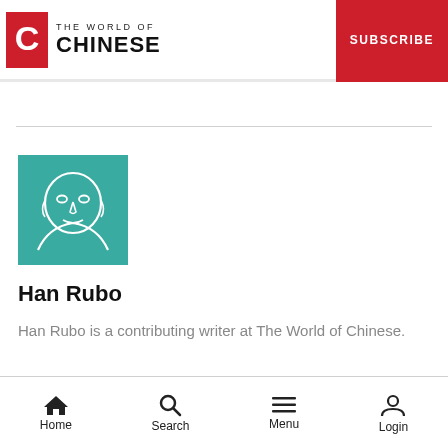THE WORLD OF CHINESE | SUBSCRIBE
[Figure (illustration): Avatar illustration of Han Rubo — a stylized line drawing of a face in white on a teal/green background square]
Han Rubo
Han Rubo is a contributing writer at The World of Chinese.
Home  Search  Menu  Login